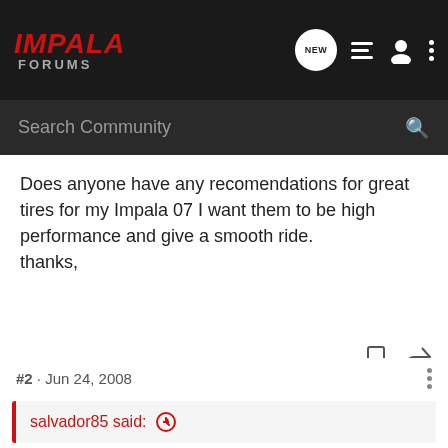IMPALA FORUMS
Search Community
Does anyone have any recomendations for great tires for my Impala 07 I want them to be high performance and give a smooth ride.
thanks,
Heavy_SS · Registered
Joined Apr 18, 2008 · 483 Posts
#2 · Jun 24, 2008
salvador85 said: